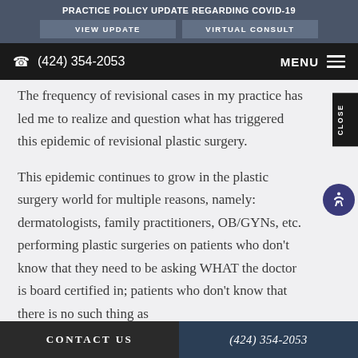PRACTICE POLICY UPDATE REGARDING COVID-19
VIEW UPDATE | VIRTUAL CONSULT
(424) 354-2053  MENU
The frequency of revisional cases in my practice has led me to realize and question what has triggered this epidemic of revisional plastic surgery.
This epidemic continues to grow in the plastic surgery world for multiple reasons, namely: dermatologists, family practitioners, OB/GYNs, etc. performing plastic surgeries on patients who don't know that they need to be asking WHAT the doctor is board certified in; patients who don't know that there is no such thing as
CONTACT US  (424) 354-2053